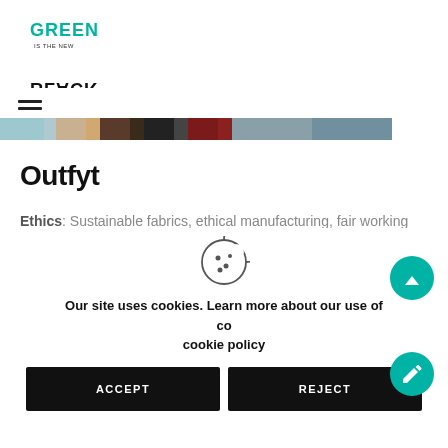[Figure (logo): Green is the New Black logo — stylized text with GREEN above and BLACK flipped/mirrored below]
[Figure (illustration): Hamburger menu icon (three horizontal lines)]
[Figure (photo): Horizontal strip of fashion/product images in various colors]
Outfyt
Ethics: Sustainable fabrics, ethical manufacturing, fair working conditions, zero single-use plastic, eco-friendly packaging
Collections...
[Figure (illustration): Cookie icon — circle with cookie shape and bite taken out]
Our site uses cookies. Learn more about our use of cookies: cookie policy
ACCEPT
REJECT